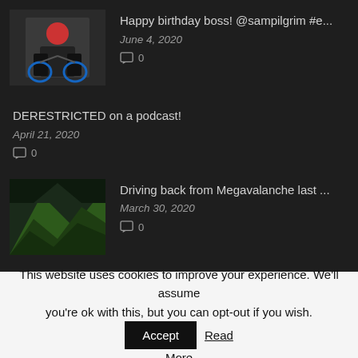Happy birthday boss! @sampilgrim #e...
June 4, 2020
0 comments
DERESTRICTED on a podcast!
April 21, 2020
0 comments
Driving back from Megavalanche last ...
March 30, 2020
0 comments
Last month in Corsica feels already lik...
March 28, 2020
0 comments
This website uses cookies to improve your experience. We'll assume you're ok with this, but you can opt-out if you wish. Accept Read More